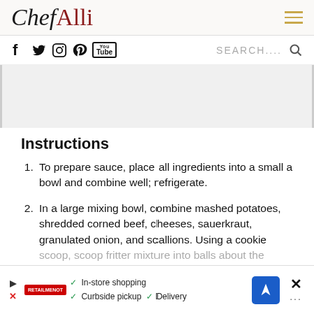Chef Alli
[Figure (screenshot): Social media icons: Facebook, Twitter, Instagram, Pinterest, YouTube, and a search bar with magnifying glass icon]
[Figure (screenshot): Advertisement placeholder area (gray box)]
Instructions
To prepare sauce, place all ingredients into a small a bowl and combine well; refrigerate.
In a large mixing bowl, combine mashed potatoes, shredded corned beef, cheeses, sauerkraut, granulated onion, and scallions. Using a cookie scoop, scoop fritter mixture into balls about the...
[Figure (screenshot): Bottom advertisement bar with store shopping, curbside pickup, and delivery options]